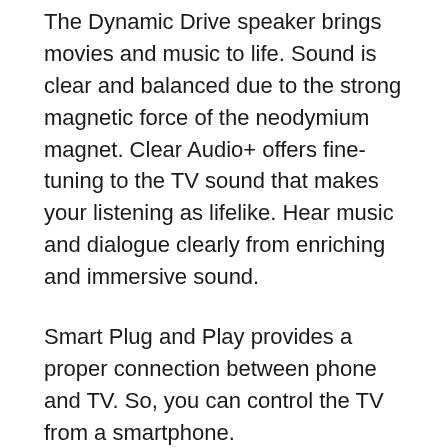The Dynamic Drive speaker brings movies and music to life. Sound is clear and balanced due to the strong magnetic force of the neodymium magnet. Clear Audio+ offers fine-tuning to the TV sound that makes your listening as lifelike. Hear music and dialogue clearly from enriching and immersive sound.
Smart Plug and Play provides a proper connection between phone and TV. So, you can control the TV from a smartphone.
Like other Sony Smart TV, this 43-inch Full HD TV also has X-Protection PRO that makes it durable and strong. It performs well in the toughest conditions like dust, lightning, humidity and unstable electricity.